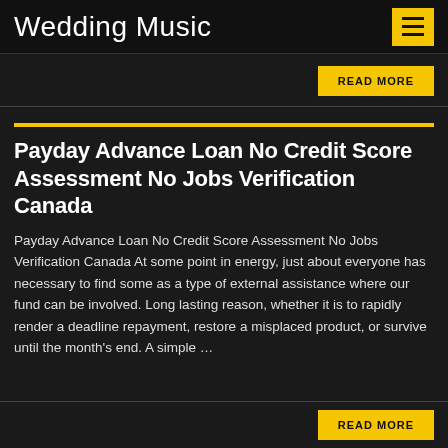Wedding Music
READ MORE
Payday Advance Loan No Credit Score Assessment No Jobs Verification Canada
Payday Advance Loan No Credit Score Assessment No Jobs Verification Canada At some point in energy, just about everyone has necessary to find some as a type of external assistance where our fund can be involved. Long lasting reason, whether it is to rapidly render a deadline repayment, restore a misplaced product, or survive until the month's end. A simple …
READ MORE